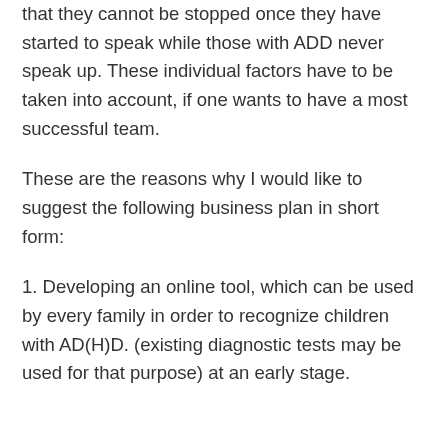that they cannot be stopped once they have started to speak while those with ADD never speak up. These individual factors have to be taken into account, if one wants to have a most successful team.
These are the reasons why I would like to suggest the following business plan in short form:
1. Developing an online tool, which can be used by every family in order to recognize children with AD(H)D. (existing diagnostic tests may be used for that purpose) at an early stage.